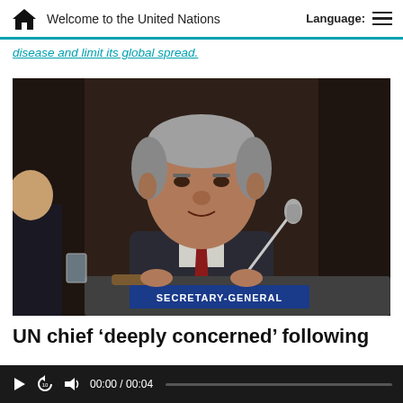Welcome to the United Nations | Language:
disease and limit its global spread.
[Figure (photo): UN Secretary-General speaking at a podium with a 'SECRETARY-GENERAL' nameplate visible in front, microphone in foreground, wearing a dark suit and red tie.]
UN chief ‘deeply concerned’ following